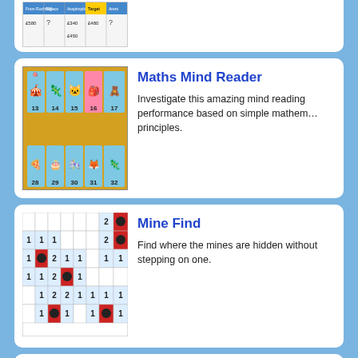[Figure (screenshot): Partial top card showing a table/spreadsheet screenshot (partially visible)]
Maths Mind Reader
Investigate this amazing mind reading performance based on simple mathematical principles.
[Figure (screenshot): Maths Mind Reader card game grid showing items numbered 13-17 and 28-32 on orange background]
Mine Find
Find where the mines are hidden without stepping on one.
[Figure (screenshot): Mine Find minesweeper-style grid with numbers and black mine circles]
Mystery Numbers
If '7 D in a W' stands for 7 days in a week, what do you think these mystery numbers a…